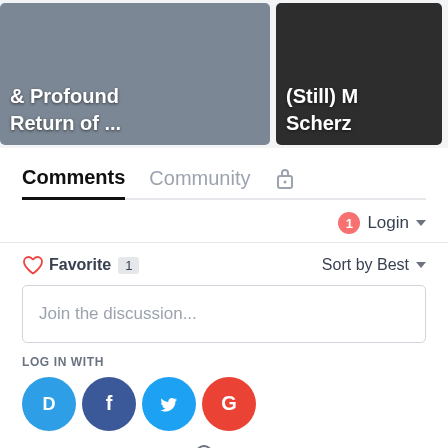[Figure (screenshot): Two thumbnail image cards side by side at top. Left card shows text '& Profound Return of ...' in white bold on dark photo. Right card shows partial text '(Still) M Scherz' in white bold on dark background.]
Comments  Community  🔒
1  Login ▾
♡ Favorite  1       Sort by Best ▾
Join the discussion...
LOG IN WITH
[Figure (logo): Four social login icons in circles: Disqus (blue, D), Facebook (dark blue, f), Twitter (blue, bird), Google (red, G)]
OR SIGN UP WITH DISQUS ?
Name
[Figure (illustration): Purple circle button with coffee cup icon in bottom right corner]